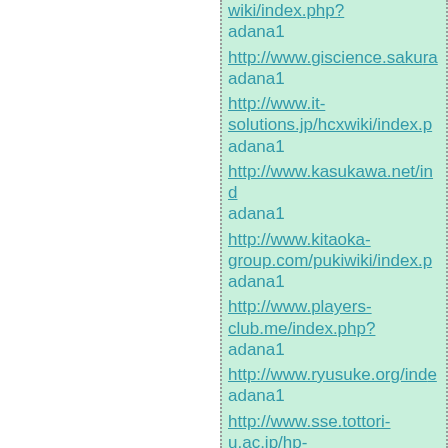wiki/index.php? adana1
http://www.giscience.sakura... adana1
http://www.it-solutions.jp/hcxwiki/index.p... adana1
http://www.kasukawa.net/ind... adana1
http://www.kitaoka-group.com/pukiwiki/index.p... adana1
http://www.players-club.me/index.php? adana1
http://www.ryusuke.org/inde... adana1
http://www.sse.tottori-u.ac.jp/hp-